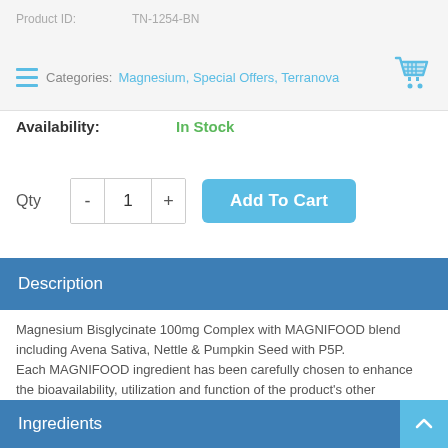Product ID: TN-1234-BN | Categories: Magnesium, Special Offers, Terranova
Availability: In Stock
Qty - 1 + Add To Cart
Description
Magnesium Bisglycinate 100mg Complex with MAGNIFOOD blend including Avena Sativa, Nettle & Pumpkin Seed with P5P. Each MAGNIFOOD ingredient has been carefully chosen to enhance the bioavailability, utilization and function of the product's other ingredients.
Ingredients